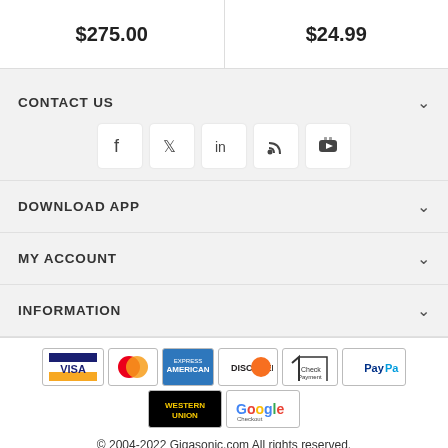$275.00
$24.99
CONTACT US
[Figure (infographic): Social media icons: Facebook, Twitter, LinkedIn, RSS feed, YouTube]
DOWNLOAD APP
MY ACCOUNT
INFORMATION
[Figure (infographic): Payment method logos: VISA, Mastercard, American Express, Discover, Check Payment, PayPal, Western Union, Google Checkout]
© 2004-2022 Gigasonic.com All rights reserved.